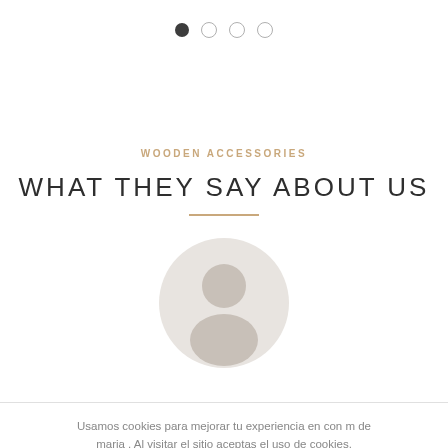[Figure (other): Carousel navigation dots: one filled dark dot followed by three empty circle dots]
WOODEN ACCESSORIES
WHAT THEY SAY ABOUT US
[Figure (illustration): Circular avatar placeholder image showing a generic grey silhouette of a person's head and shoulders]
Usamos cookies para mejorar tu experiencia en con m de maria . Al visitar el sitio aceptas el uso de cookies.
ACCEPT